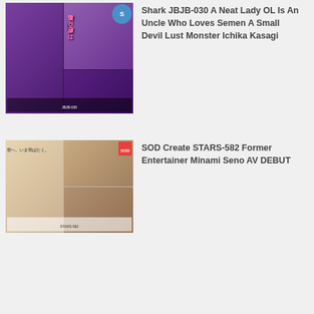[Figure (photo): DVD/Blu-ray cover image for Shark JBJB-030 showing a woman in purple lingerie with Japanese text overlay and grid of scene stills]
Shark JBJB-030 A Neat Lady OL Is An Uncle Who Loves Semen A Small Devil Lust Monster Ichika Kasagi
[Figure (photo): DVD/Blu-ray cover image for SOD Create STARS-582 Former Entertainer Minami Seno AV DEBUT showing a young woman with scene stills]
SOD Create STARS-582 Former Entertainer Minami Seno AV DEBUT